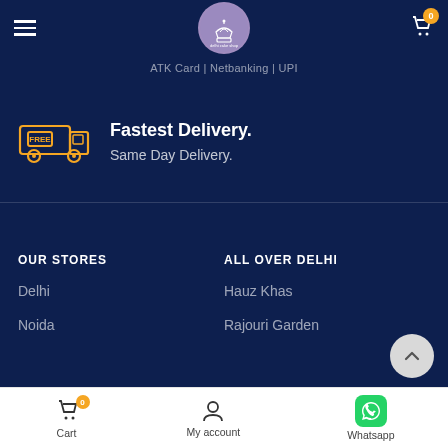Delhi Cake Shop navigation bar with logo and cart icon
ATK Card | Netbanking | UPI
[Figure (illustration): Free delivery truck icon in orange/yellow color]
Fastest Delivery.
Same Day Delivery.
OUR STORES
Delhi
Noida
ALL OVER DELHI
Hauz Khas
Rajouri Garden
Cart | My account | Whatsapp